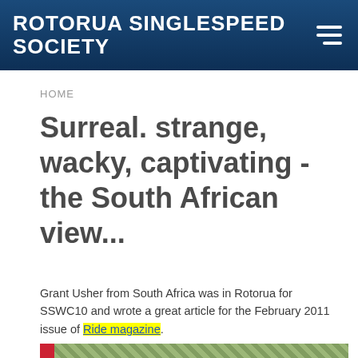ROTORUA SINGLESPEED SOCIETY
HOME
Surreal. strange, wacky, captivating - the South African view...
Grant Usher from South Africa was in Rotorua for SSWC10 and wrote a great article for the February 2011 issue of Ride magazine.
[Figure (photo): Thumbnail strip showing a nature/forest photo with a red square icon on the left]